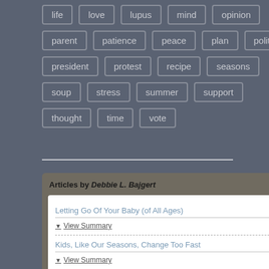life
love
lupus
mind
opinion
parent
patience
peace
plan
politics
president
protest
recipe
seasons
soup
stress
summer
support
thought
time
vote
Articles by Debbie L. Bajgert
Letting Go Of Your Baby (of All Ages)
▼ View Summary
Kids, Like Our Seasons, Change Too Fast
▼ View Summary
Aging and Impatience - Understanding Needed